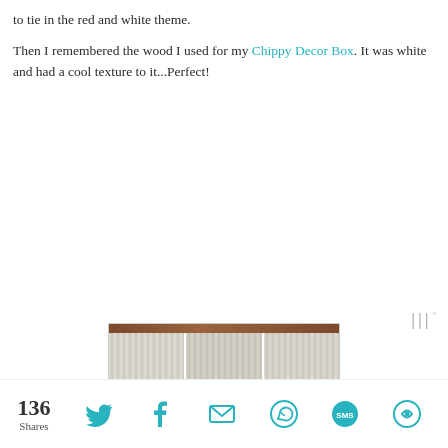to tie in the red and white theme.

Then I remembered the wood I used for my Chippy Decor Box. It was white and had a cool texture to it...Perfect!
[Figure (photo): Photo of white chippy wood pieces laid out on a reddish-brown surface, showing three sections of textured white painted wood.]
136 Shares | Share icons: Twitter, Facebook, Email, WhatsApp, SMS, Flipboard